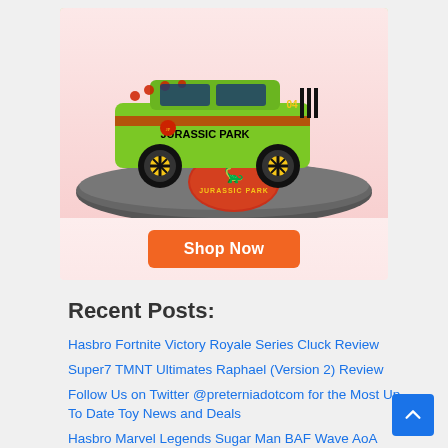[Figure (photo): Jurassic Park toy vehicle (green SUV with Jurassic Park livery) on a rocky display base with Jurassic Park logo, with a pink gradient background and an orange 'Shop Now' button below.]
Recent Posts:
Hasbro Fortnite Victory Royale Series Cluck Review
Super7 TMNT Ultimates Raphael (Version 2) Review
Follow Us on Twitter @preterniadotcom for the Most Up To Date Toy News and Deals
Hasbro Marvel Legends Sugar Man BAF Wave AoA Jean Grey Review
Boss Fight Studio Bucky O'Hare Deluxe Bruiser Review